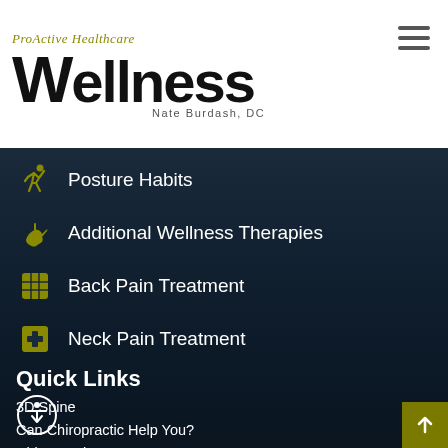ProActive Healthcare — Wellness — Nate Burdash, DC
Posture Habits
Additional Wellness Therapies
Back Pain Treatment
Neck Pain Treatment
Quick Links
3D Spine
Can Chiropractic Help You?
Chiropractic News
Video Library